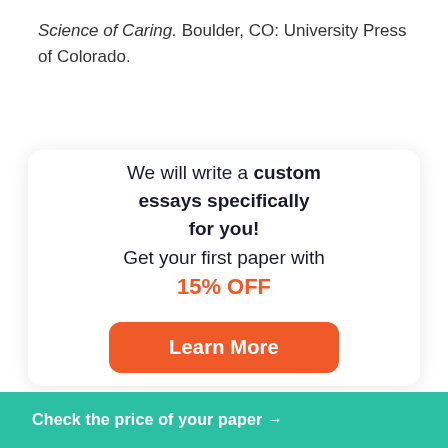Science of Caring. Boulder, CO: University Press of Colorado.
[Figure (infographic): Promotional card with text: 'We will write a custom essays specifically for you! Get your first paper with 15% OFF' and a 'Learn More' button in orange/red.]
Check the price of your paper →